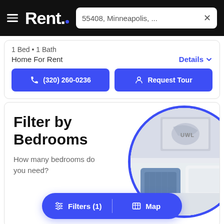Rent. — 55408, Minneapolis, ...
1 Bed • 1 Bath
Home For Rent
Details
(320) 260-0236
Request Tour
Filter by Bedrooms
How many bedrooms do you need?
[Figure (photo): Bedroom photo in a circular crop showing a blue pillow on a white bed with wall art in the background]
Filters (1)
Map